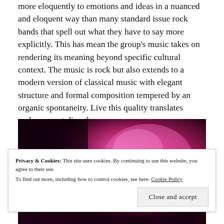more eloquently to emotions and ideas in a nuanced and eloquent way than many standard issue rock bands that spell out what they have to say more explicitly. This has mean the group's music takes on rendering its meaning beyond specific cultural context. The music is rock but also extends to a modern version of classical music with elegant structure and formal composition tempered by an organic spontaneity. Live this quality translates perhaps most directly.
[Figure (photo): Concert/performance photograph with pink and magenta stage lighting, partially visible]
Privacy & Cookies: This site uses cookies. By continuing to use this website, you agree to their use.
To find out more, including how to control cookies, see here: Cookie Policy
Close and accept